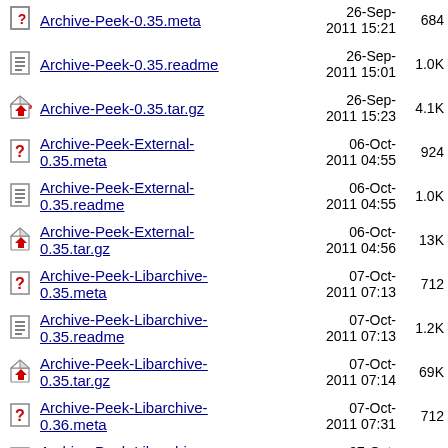Archive-Peek-0.35.meta  26-Sep-2011 15:21  684
Archive-Peek-0.35.readme  26-Sep-2011 15:01  1.0K
Archive-Peek-0.35.tar.gz  26-Sep-2011 15:23  4.1K
Archive-Peek-External-0.35.meta  06-Oct-2011 04:55  924
Archive-Peek-External-0.35.readme  06-Oct-2011 04:55  1.0K
Archive-Peek-External-0.35.tar.gz  06-Oct-2011 04:56  13K
Archive-Peek-Libarchive-0.35.meta  07-Oct-2011 07:13  712
Archive-Peek-Libarchive-0.35.readme  07-Oct-2011 07:13  1.2K
Archive-Peek-Libarchive-0.35.tar.gz  07-Oct-2011 07:14  69K
Archive-Peek-Libarchive-0.36.meta  07-Oct-2011 07:31  712
Archive-Peek-Libarchive-0.36.readme  07-Oct-2011 07:31  1.2K